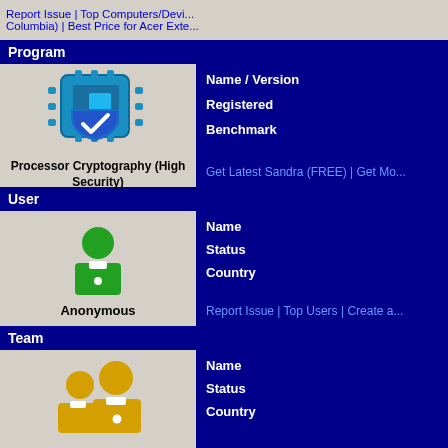Report Issue | Top Computers/Devices ... Columbia) | Best Price for Acer Exte...
Program
[Figure (illustration): Processor Cryptography (High Security) icon - a blue circuit chip with a shield and checkmark overlay]
Processor Cryptography (High Security)
Name / Version
Registered
Benchmark
Get Latest Sandra (FREE) | Get Mo...
User
[Figure (illustration): Green user/person icon representing anonymous user]
Anonymous
Name
Status
Country
Report Issue | Top Users | Create a...
Team
[Figure (illustration): Yellow/gold team icon with two person figures]
World
Name
Status
Country
Report Issue | Top Teams | Create a...
Aggregated Results
| Component | Average Score | Average Capacity | Aver... |
| --- | --- | --- | --- |